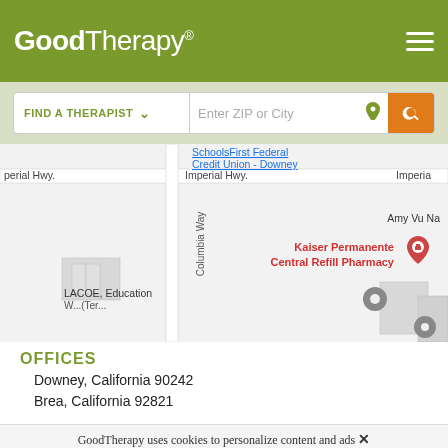GoodTherapy®
[Figure (screenshot): Search bar with 'FIND A THERAPIST' dropdown and 'Enter ZIP or City' input field with location icon and orange search button]
[Figure (map): Google Maps snippet showing Downey California area with SchoolsFirst Federal Credit Union - Downey, Imperial Hwy., Columbia Way, LACOE Education, Kaiser Permanente Central Refill Pharmacy, Amy Vu Na label visible]
OFFICES
Downey, California  90242
Brea, California  92821
GoodTherapy uses cookies to personalize content and ads to provide better services for our users and to analyze our traffic. By continuing to use this site you consent to our cookies.